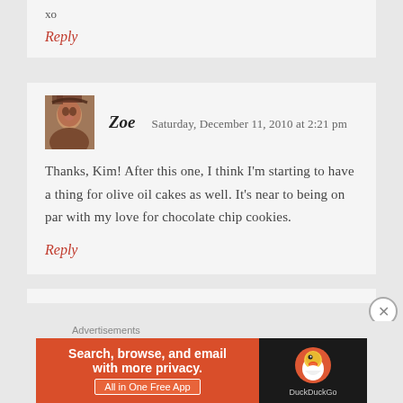xo
Reply
Zoe   Saturday, December 11, 2010 at 2:21 pm
Thanks, Kim! After this one, I think I'm starting to have a thing for olive oil cakes as well. It's near to being on par with my love for chocolate chip cookies.
Reply
Advertisements
[Figure (screenshot): DuckDuckGo advertisement banner: 'Search, browse, and email with more privacy. All in One Free App' on orange background with DuckDuckGo duck logo on dark background]